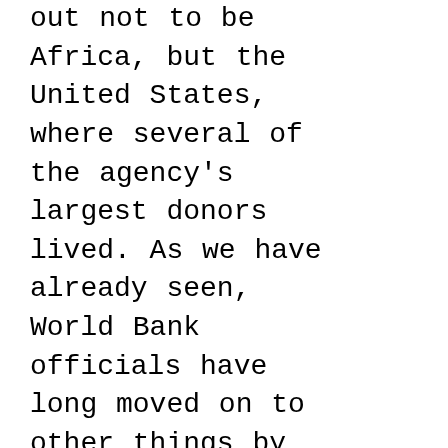out not to be Africa, but the United States, where several of the agency's largest donors lived. As we have already seen, World Bank officials have long moved on to other things by the time the effects of their handiwork become visible. There is no responsibility